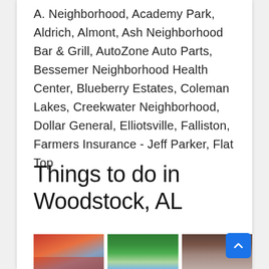A. Neighborhood, Academy Park, Aldrich, Almont, Ash Neighborhood Bar & Grill, AutoZone Auto Parts, Bessemer Neighborhood Health Center, Blueberry Estates, Coleman Lakes, Creekwater Neighborhood, Dollar General, Elliotsville, Falliston, Farmers Insurance - Jeff Parker, Flat Top
Things to do in Woodstock, AL
[Figure (photo): Three photos showing local places in Woodstock, AL: a Texaco gas station, an aerial/resort view with pool and greenery, and a wooden pavilion or covered structure.]